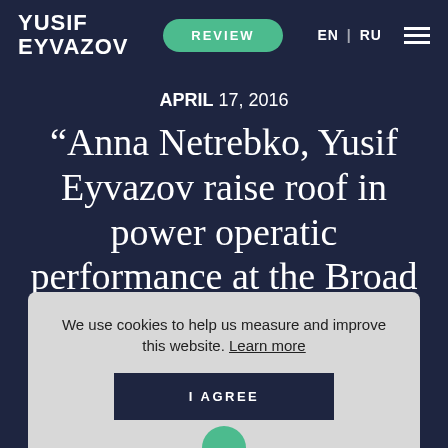YUSIF EYVAZOV | REVIEW | EN | RU
APRIL 17, 2016
“Anna Netrebko, Yusif Eyvazov raise roof in power operatic performance at the Broad Stage”
We use cookies to help us measure and improve this website. Learn more
I AGREE